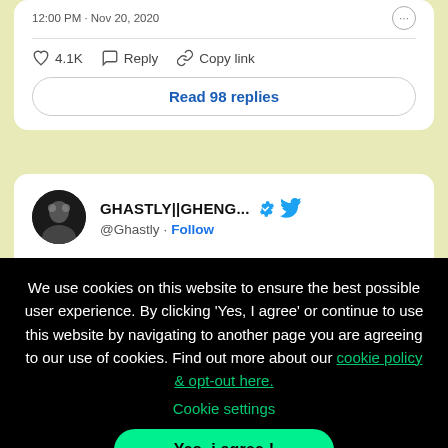12:00 PM · Nov 20, 2020
♡ 4.1K   Reply   Copy link
Read 98 replies
GHASTLY||GHENG... @Ghastly · Follow
I'm at a loss for words man. I can't believe
We use cookies on this website to ensure the best possible user experience. By clicking 'Yes, I agree' or continue to use this website by navigating to another page you are agreeing to our use of cookies. Find out more about our cookie policy & opt-out here.
Cookie settings
Yes, i agree !